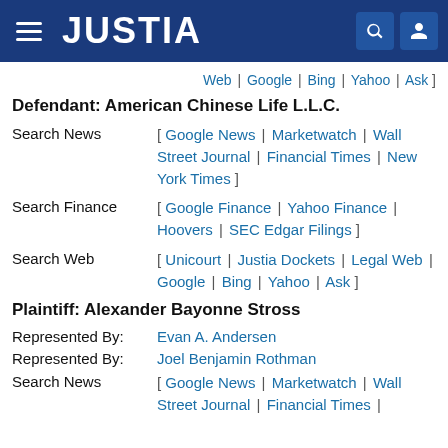JUSTIA
Web | Google | Bing | Yahoo | Ask ]
Defendant: American Chinese Life L.L.C.
Search News   [ Google News | Marketwatch | Wall Street Journal | Financial Times | New York Times ]
Search Finance   [ Google Finance | Yahoo Finance | Hoovers | SEC Edgar Filings ]
Search Web   [ Unicourt | Justia Dockets | Legal Web | Google | Bing | Yahoo | Ask ]
Plaintiff: Alexander Bayonne Stross
Represented By:   Evan A. Andersen
Represented By:   Joel Benjamin Rothman
Search News   [ Google News | Marketwatch | Wall Street Journal | Financial Times |